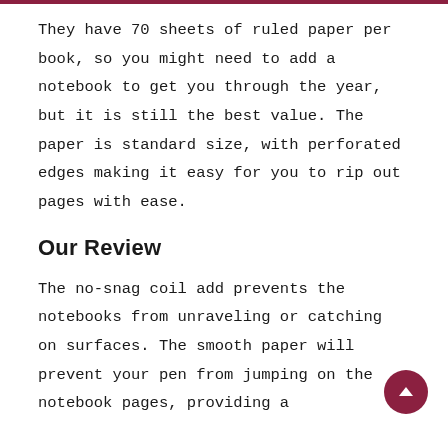They have 70 sheets of ruled paper per book, so you might need to add a notebook to get you through the year, but it is still the best value. The paper is standard size, with perforated edges making it easy for you to rip out pages with ease.
Our Review
The no-snag coil add prevents the notebooks from unraveling or catching on surfaces. The smooth paper will prevent your pen from jumping on the notebook pages, providing a